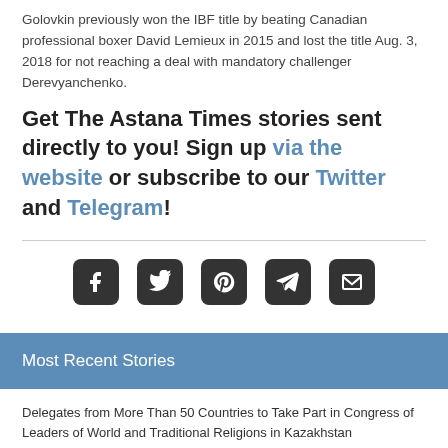Golovkin previously won the IBF title by beating Canadian professional boxer David Lemieux in 2015 and lost the title Aug. 3, 2018 for not reaching a deal with mandatory challenger Derevyanchenko.
Get The Astana Times stories sent directly to you! Sign up via the website or subscribe to our Twitter and Telegram!
[Figure (infographic): Social media share icons: Facebook, Twitter, Pinterest, Telegram, Email]
Most Recent Stories
Delegates from More Than 50 Countries to Take Part in Congress of Leaders of World and Traditional Religions in Kazakhstan